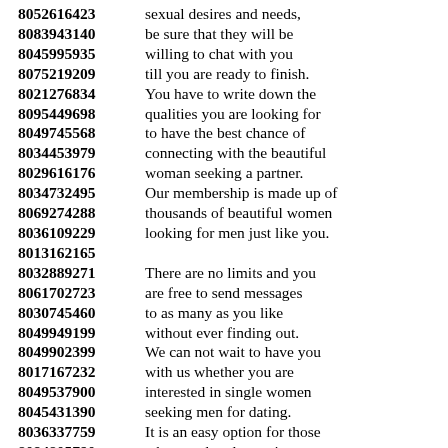8052616423 sexual desires and needs, 8083943140 be sure that they will be 8045995935 willing to chat with you 8075219209 till you are ready to finish. 8021276834 You have to write down the 8095449698 qualities you are looking for 8049745568 to have the best chance of 8034453979 connecting with the beautiful 8029616176 woman seeking a partner. 8034732495 Our membership is made up of 8069274288 thousands of beautiful women 8036109229 looking for men just like you. 8013162165 8032889271 There are no limits and you 8061702723 are free to send messages 8030745460 to as many as you like 8049949199 without ever finding out. 8049902399 We can not wait to have you 8017167232 with us whether you are 8049537900 interested in single women 8045431390 seeking men for dating. 8036337759 It is an easy option for those 8094805790 who are already starting to 8087382319 get out there and get it done, 8052400172 simple men and women.